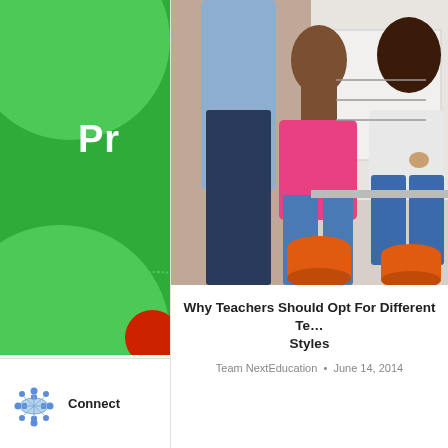[Figure (illustration): Green card with large lighter green circles top-left and bottom-left, a red circle and dotted circle accent, with bold white text 'PR' partially visible]
[Figure (photo): Photo of a teacher with two female students working at a whiteboard; students sit on orange stools, one in pink shirt, one in white]
Why Teachers Should Opt For Different Teaching Styles
Team NextEducation • June 14, 2014
[Figure (illustration): Network/people connection icon showing figures arranged in a circle around a table]
Connect